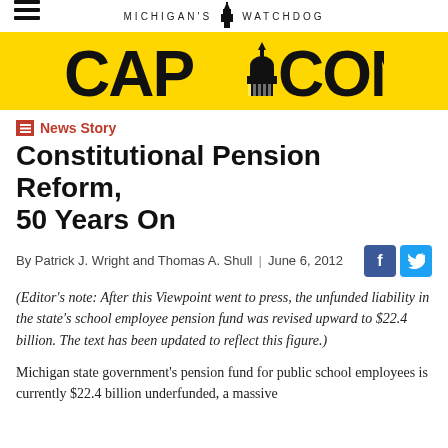MICHIGAN'S WATCHDOG — CAPCON
News Story
Constitutional Pension Reform, 50 Years On
By Patrick J. Wright and Thomas A. Shull | June 6, 2012
(Editor's note: After this Viewpoint went to press, the unfunded liability in the state's school employee pension fund was revised upward to $22.4 billion. The text has been updated to reflect this figure.)
Michigan state government's pension fund for public school employees is currently $22.4 billion underfunded, a massive shortfall that...